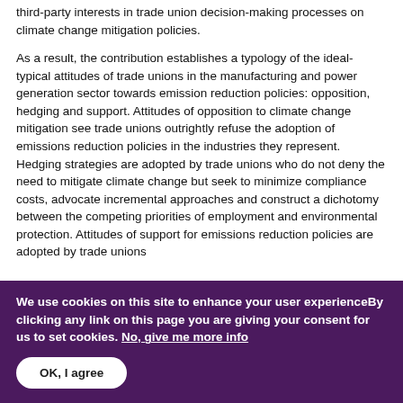third-party interests in trade union decision-making processes on climate change mitigation policies.
As a result, the contribution establishes a typology of the ideal-typical attitudes of trade unions in the manufacturing and power generation sector towards emission reduction policies: opposition, hedging and support. Attitudes of opposition to climate change mitigation see trade unions outrightly refuse the adoption of emissions reduction policies in the industries they represent. Hedging strategies are adopted by trade unions who do not deny the need to mitigate climate change but seek to minimize compliance costs, advocate incremental approaches and construct a dichotomy between the competing priorities of employment and environmental protection. Attitudes of support for emissions reduction policies are adopted by trade unions
We use cookies on this site to enhance your user experienceBy clicking any link on this page you are giving your consent for us to set cookies. No, give me more info
OK, I agree